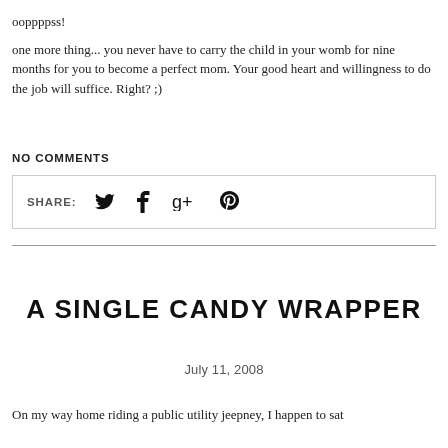ooppppss!
one more thing... you never have to carry the child in your womb for nine months for you to become a perfect mom. Your good heart and willingness to do the job will suffice. Right? ;)
NO COMMENTS
SHARE: [Twitter] [Facebook] [Google+] [Pinterest]
A SINGLE CANDY WRAPPER
July 11, 2008
On my way home riding a public utility jeepney, I happen to sat